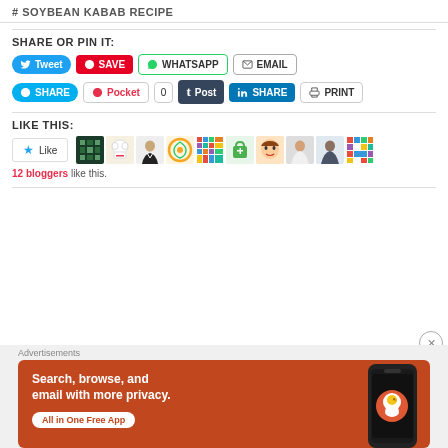# SOYBEAN KABAB RECIPE
SHARE OR PIN IT:
[Figure (screenshot): Social sharing buttons row 1: Tweet, SAVE, WHATSAPP, EMAIL]
[Figure (screenshot): Social sharing buttons row 2: SHARE (Skype), Pocket, 0, Post (Tumblr), SHARE (LinkedIn), PRINT]
LIKE THIS:
[Figure (screenshot): WordPress Like button with star icon showing 'Like', followed by 10 blogger avatars]
12 bloggers like this.
Advertisements
[Figure (screenshot): DuckDuckGo advertisement banner: Search, browse, and email with more privacy. All in One Free App. Shows a phone with DuckDuckGo logo.]